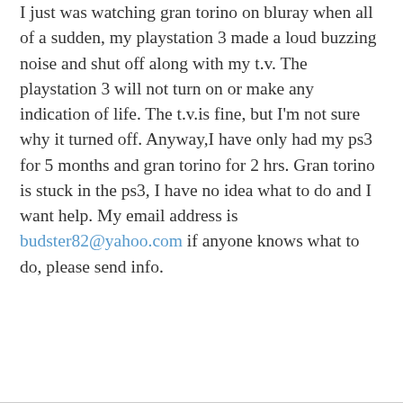I just was watching gran torino on bluray when all of a sudden, my playstation 3 made a loud buzzing noise and shut off along with my t.v. The playstation 3 will not turn on or make any indication of life. The t.v.is fine, but I'm not sure why it turned off. Anyway,I have only had my ps3 for 5 months and gran torino for 2 hrs. Gran torino is stuck in the ps3, I have no idea what to do and I want help. My email address is budster82@yahoo.com if anyone knows what to do, please send info.
REPLY